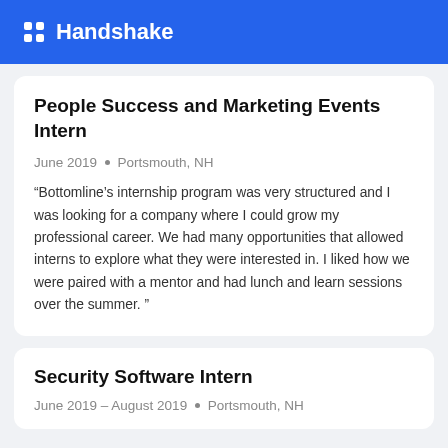Handshake
People Success and Marketing Events Intern
June 2019 • Portsmouth, NH
“Bottomline’s internship program was very structured and I was looking for a company where I could grow my professional career. We had many opportunities that allowed interns to explore what they were interested in. I liked how we were paired with a mentor and had lunch and learn sessions over the summer. ”
Security Software Intern
June 2019 – August 2019 • Portsmouth, NH